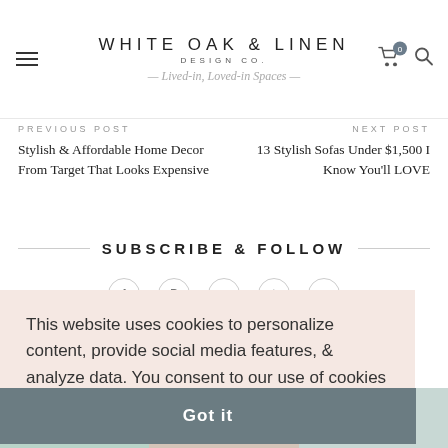WHITE OAK & LINEN DESIGN CO. — Lived-in, Loved-in Spaces
PREVIOUS POST
Stylish & Affordable Home Decor From Target That Looks Expensive
NEXT POST
13 Stylish Sofas Under $1,500 I Know You'll LOVE
SUBSCRIBE & FOLLOW
This website uses cookies to personalize content, provide social media features, & analyze data. You consent to our use of cookies by closing this bar. Learn more
Got it